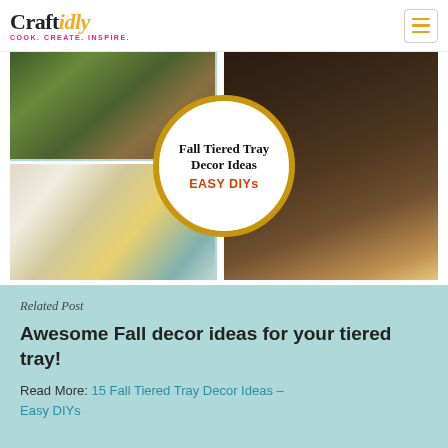[Figure (logo): Craftidly logo with tagline COOK. CREATE. INSPIRE.]
[Figure (photo): Collage of fall tiered tray decor ideas showing decorated trays, candy corn in a jar, a burlap gnome, and autumn decorations. Center white circle overlay with gold border reads: Fall Tiered Tray Decor Ideas EASY DIYs]
Related Post
Awesome Fall decor ideas for your tiered tray!
Read More: 15 Fall Tiered Tray Decor Ideas – Easy DIYs